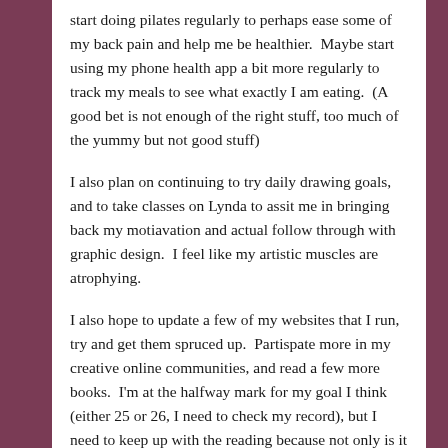start doing pilates regularly to perhaps ease some of my back pain and help me be healthier.  Maybe start using my phone health app a bit more regularly to track my meals to see what exactly I am eating.  (A good bet is not enough of the right stuff, too much of the yummy but not good stuff)
I also plan on continuing to try daily drawing goals, and to take classes on Lynda to assit me in bringing back my motiavation and actual follow through with graphic design.  I feel like my artistic muscles are atrophying.
I also hope to update a few of my websites that I run, try and get them spruced up.  Partispate more in my creative online communities, and read a few more books.  I'm at the halfway mark for my goal I think (either 25 or 26, I need to check my record), but I need to keep up with the reading because not only is it a relaxing activity for me and helps me keep my stress